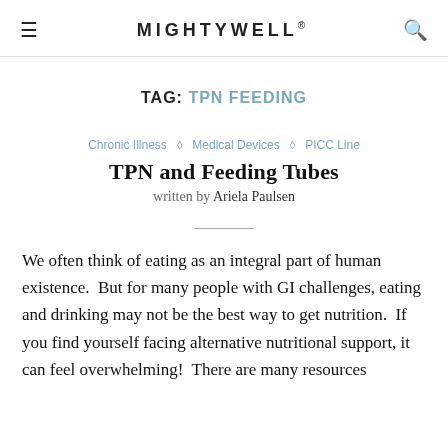MIGHTYWELL®
TAG: TPN FEEDING
Chronic Illness ◇ Medical Devices ◇ PICC Line
TPN and Feeding Tubes
written by Ariela Paulsen
We often think of eating as an integral part of human existence.  But for many people with GI challenges, eating and drinking may not be the best way to get nutrition.  If you find yourself facing alternative nutritional support, it can feel overwhelming!  There are many resources